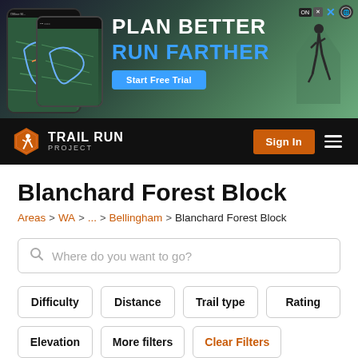[Figure (screenshot): Advertisement banner for Trail Run Project app showing 'PLAN BETTER RUN FARTHER' with Start Free Trial button, phone mockups with trail maps, and a runner silhouette]
[Figure (screenshot): Trail Run Project navigation bar with logo (orange hexagon with runner icon), TRAIL RUN PROJECT text, Sign In button, and hamburger menu on black background]
Blanchard Forest Block
Areas > WA > ... > Bellingham > Blanchard Forest Block
Where do you want to go?
Difficulty
Distance
Trail type
Rating
Elevation
More filters
Clear Filters